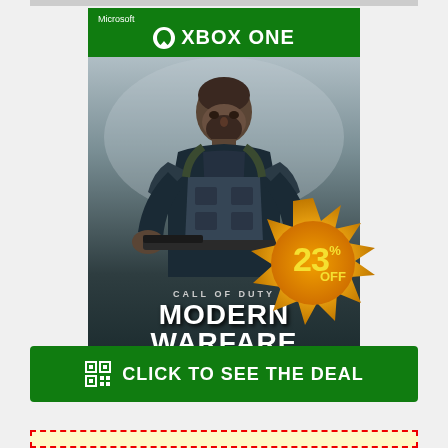[Figure (illustration): Call of Duty Modern Warfare Xbox One game box art showing a soldier with the game title, Microsoft Xbox One branding at the top with green header bar, and a green footer strip. A starburst badge shows 23% OFF discount.]
CLICK TO SEE THE DEAL